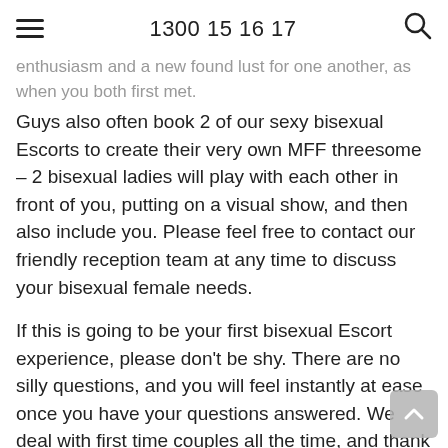1300 15 16 17
enthusiasm and a new found lust for one another, as when you both first met.
Guys also often book 2 of our sexy bisexual Escorts to create their very own MFF threesome – 2 bisexual ladies will play with each other in front of you, putting on a visual show, and then also include you. Please feel free to contact our friendly reception team at any time to discuss your bisexual female needs.
If this is going to be your first bisexual Escort experience, please don't be shy. There are no silly questions, and you will feel instantly at ease once you have your questions answered. We deal with first time couples all the time, and thank you for trusting us to provide you with your first bisexual experience.